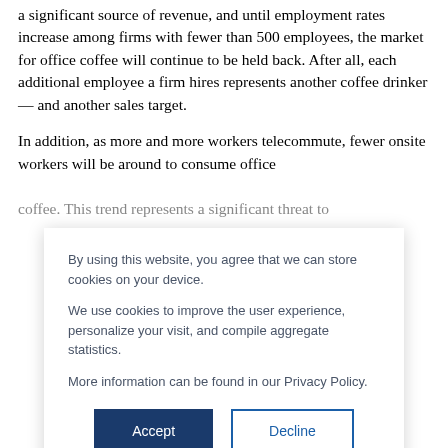a significant source of revenue, and until employment rates increase among firms with fewer than 500 employees, the market for office coffee will continue to be held back. After all, each additional employee a firm hires represents another coffee drinker — and another sales target.
In addition, as more and more workers telecommute, fewer onsite workers will be around to consume office coffee. This trend represents a significant threat to
By using this website, you agree that we can store cookies on your device.
We use cookies to improve the user experience, personalize your visit, and compile aggregate statistics.
More information can be found in our Privacy Policy.